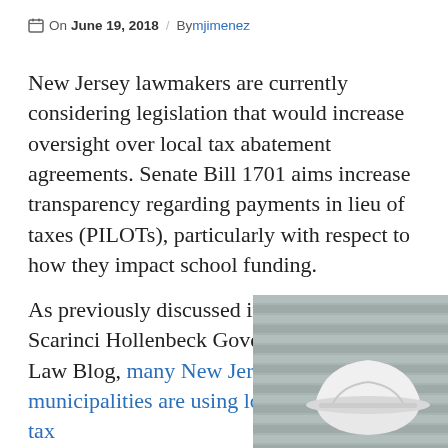On June 19, 2018 / By mjimenez
New Jersey lawmakers are currently considering legislation that would increase oversight over local tax abatement agreements. Senate Bill 1701 aims increase transparency regarding payments in lieu of taxes (PILOTs), particularly with respect to how they impact school funding.
As previously discussed in the Scarinci Hollenbeck Government & Law Blog, many New Jersey municipalities are using long-term tax
[Figure (photo): A white hard hat resting on grey corrugated metal surface]